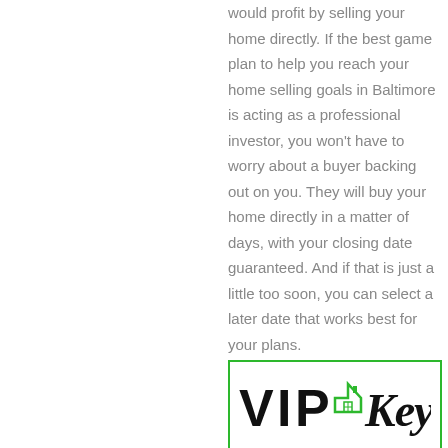would profit by selling your home directly. If the best game plan to help you reach your home selling goals in Baltimore is acting as a professional investor, you won't have to worry about a buyer backing out on you. They will buy your home directly in a matter of days, with your closing date guaranteed. And if that is just a little too soon, you can select a later date that works best for your plans.
[Figure (logo): VIP Keyz logo in green border box. Bold text 'VIP' with a house icon and 'Keyz' in italic script.]